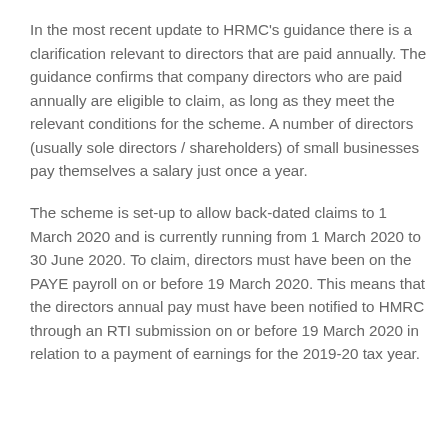In the most recent update to HRMC's guidance there is a clarification relevant to directors that are paid annually. The guidance confirms that company directors who are paid annually are eligible to claim, as long as they meet the relevant conditions for the scheme. A number of directors (usually sole directors / shareholders) of small businesses pay themselves a salary just once a year.
The scheme is set-up to allow back-dated claims to 1 March 2020 and is currently running from 1 March 2020 to 30 June 2020. To claim, directors must have been on the PAYE payroll on or before 19 March 2020. This means that the directors annual pay must have been notified to HMRC through an RTI submission on or before 19 March 2020 in relation to a payment of earnings for the 2019-20 tax year.